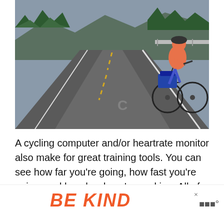[Figure (photo): A cyclist riding away from the camera on a winding mountain road. The rider wears a pink/coral top and black shorts with a rack bag on the rear of the bicycle. Green forested hills and mountains are visible in the background under an overcast sky.]
A cycling computer and/or heartrate monitor also make for great training tools. You can see how far you're going, how fast you're going, and how hard you're working. All of this is good to make s nd. a
[Figure (infographic): Advertisement banner showing the text 'BE KIND' in large orange italic letters with a decorative script logo overlay and a close (×) button in the top right.]